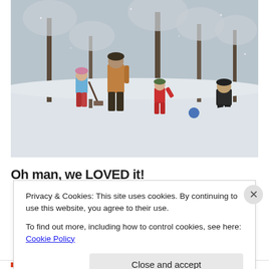[Figure (photo): A winter outdoor scene showing a man and three children playing in the snow. Trees with bare branches are visible in the background. One child in a blue jacket holds a shovel, another in red snowsuit stands near center, a third child in dark jacket crouches at right. A blue ball sits in the snow. Heavy snow covers the ground.]
Oh man, we LOVED it!
Privacy & Cookies: This site uses cookies. By continuing to use this website, you agree to their use.
To find out more, including how to control cookies, see here: Cookie Policy